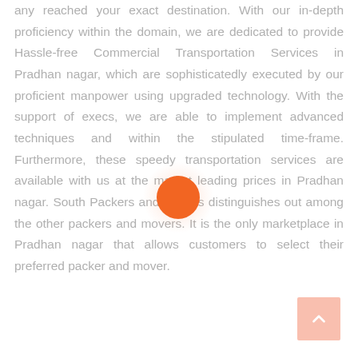any reached your exact destination. With our in-depth proficiency within the domain, we are dedicated to provide Hassle-free Commercial Transportation Services in Pradhan nagar, which are sophisticatedly executed by our proficient manpower using upgraded technology. With the support of execs, we are able to implement advanced techniques and within the stipulated time-frame. Furthermore, these speedy transportation services are available with us at the market leading prices in Pradhan nagar. South Packers and Movers distinguishes out among the other packers and movers. It is the only marketplace in Pradhan nagar that allows customers to select their preferred packer and mover.
[Figure (other): Orange circular dot/button overlaid on the text, with a soft radial glow behind it]
[Figure (other): Scroll-to-top button in bottom right corner, salmon/peach background with upward chevron arrow icon]